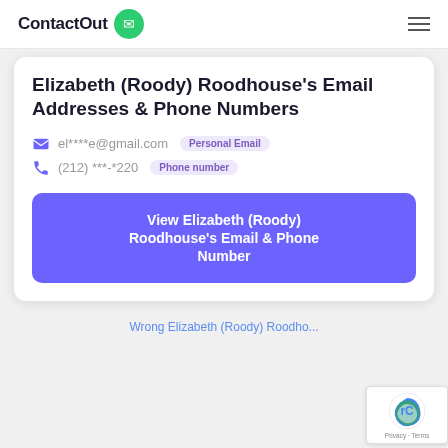ContactOut
Elizabeth (Roody) Roodhouse's Email Addresses & Phone Numbers
el****e@gmail.com  Personal Email
(212) ***-*220  Phone number
View Elizabeth (Roody) Roodhouse's Email & Phone Number
Wrong Elizabeth (Roody) Roodho...